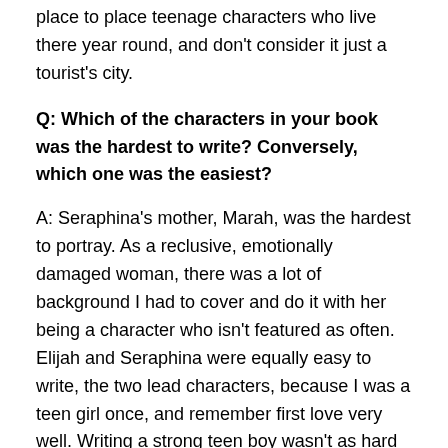place to place teenage characters who live there year round, and don't consider it just a tourist's city.
Q: Which of the characters in your book was the hardest to write? Conversely, which one was the easiest?
A: Seraphina's mother, Marah, was the hardest to portray. As a reclusive, emotionally damaged woman, there was a lot of background I had to cover and do it with her being a character who isn't featured as often. Elijah and Seraphina were equally easy to write, the two lead characters, because I was a teen girl once, and remember first love very well. Writing a strong teen boy wasn't as hard as I thought; his personality came very naturally to me. I thought of my husband.
Q: Do you see aspects of yourself in any of the